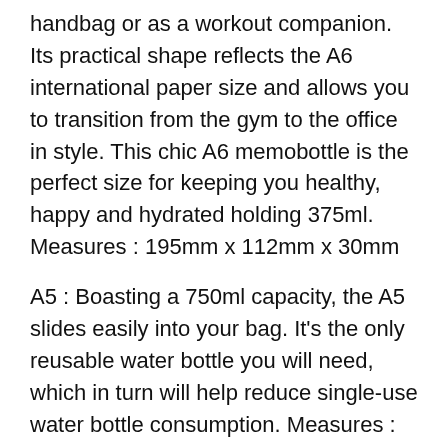handbag or as a workout companion. Its practical shape reflects the A6 international paper size and allows you to transition from the gym to the office in style. This chic A6 memobottle is the perfect size for keeping you healthy, happy and hydrated holding 375ml. Measures : 195mm x 112mm x 30mm
A5 : Boasting a 750ml capacity, the A5 slides easily into your bag. It's the only reusable water bottle you will need, which in turn will help reduce single-use water bottle consumption. Measures : 243mm x 148mm x 30mm
Slim : Just like it's name and super practical yet giving you a 450ml capacity. Measures : 265mm x 80mm x 30mm